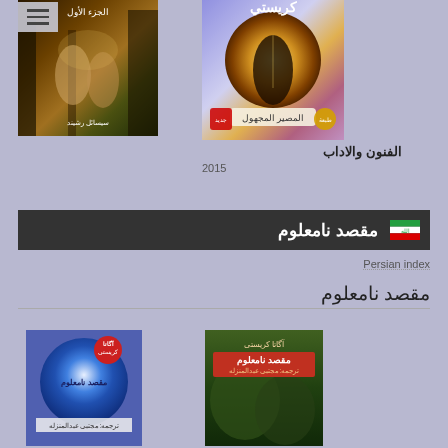[Figure (illustration): Book cover left top - fantasy/horror theme with female figures in a forest setting]
[Figure (illustration): Book cover right top - Arabic book cover with Christie title المصير المجهول, forest tunnel scene with colorful background]
الفنون والاداب
2015
مقصد نامعلوم
Persian index
مقصد نامعلوم
[Figure (illustration): Book cover bottom left - Persian edition of Agatha Christie with blue/red circular design]
[Figure (illustration): Book cover bottom right - Persian edition with green/forest background and red banner]